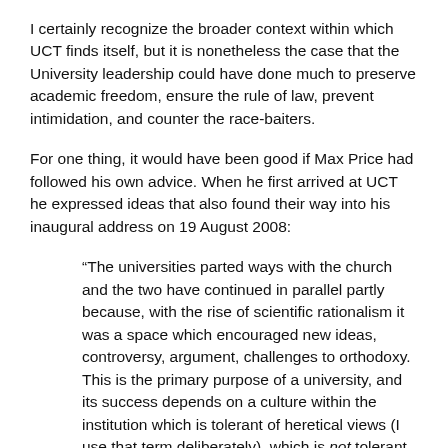I certainly recognize the broader context within which UCT finds itself, but it is nonetheless the case that the University leadership could have done much to preserve academic freedom, ensure the rule of law, prevent intimidation, and counter the race-baiters.
For one thing, it would have been good if Max Price had followed his own advice. When he first arrived at UCT he expressed ideas that also found their way into his inaugural address on 19 August 2008:
“The universities parted ways with the church and the two have continued in parallel partly because, with the rise of scientific rationalism it was a space which encouraged new ideas, controversy, argument, challenges to orthodoxy. This is the primary purpose of a university, and its success depends on a culture within the institution which is tolerant of heretical views (I use that term deliberately), which is not tolerant of attacks on people based on their background, what they believe in or who they are, but insists on the debate being about ideas and their evidence and their logic. It means that a university requires that people respect each other and give them the benefit of the doubt that all are equally committed to seeking truth. It means that one may not call someone a racist